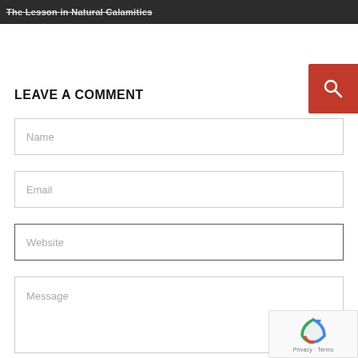The Lesson in Natural Calamities
LEAVE A COMMENT
Name
Email
Website
Message
[Figure (other): reCAPTCHA badge with Privacy and Terms text]